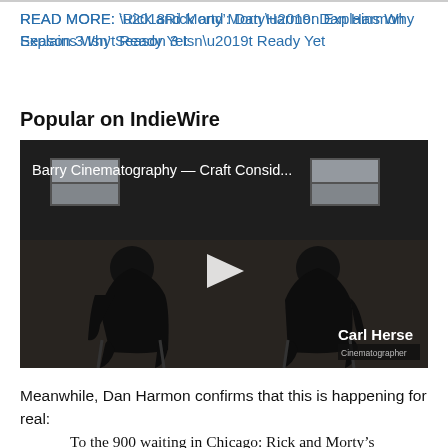READ MORE: ‘Rick and Morty’: Dan Harmon Explains Why Season 3 Isn’t Ready Yet
Popular on IndieWire
[Figure (screenshot): Video player thumbnail showing two silhouetted figures seated facing each other in a dimly lit room, with a play button in the center. Title reads 'Barry Cinematography — Craft Consid...' Watermark: Carl Herse, Cinematographer.]
Meanwhile, Dan Harmon confirms that this is happening for real:
To the 900 waiting in Chicago: Rick and Morty’s